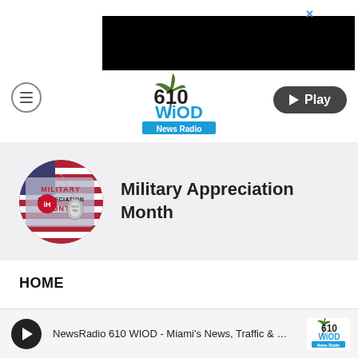[Figure (other): Black advertisement banner with close X button]
[Figure (logo): 610 WIOD News Radio logo with palm tree]
[Figure (other): Play button (rounded dark pill shape)]
[Figure (illustration): Military Appreciation Month circular badge with dog tags and iHeart logo]
Military Appreciation Month
HOME
NewsRadio 610 WIOD - Miami's News, Traffic & Weath...
[Figure (logo): 610 WIOD News Radio small logo in player bar]